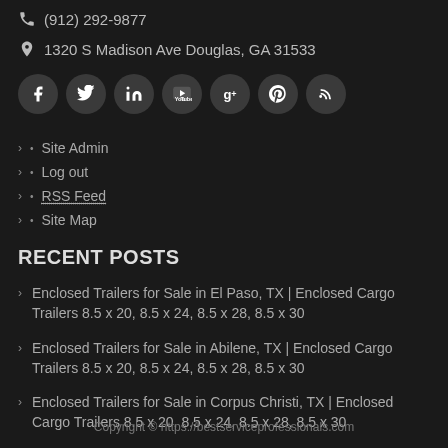(912) 292-9877
1320 S Madison Ave Douglas, GA 31533
[Figure (other): Social media icon buttons: Facebook, Twitter, LinkedIn, YouTube, Google+, Pinterest, RSS]
Site Admin
Log out
RSS Feed
Site Map
RECENT POSTS
Enclosed Trailers for Sale in El Paso, TX | Enclosed Cargo Trailers 8.5 x 20, 8.5 x 24, 8.5 x 28, 8.5 x 30
Enclosed Trailers for Sale in Abilene, TX | Enclosed Cargo Trailers 8.5 x 20, 8.5 x 24, 8.5 x 28, 8.5 x 30
Enclosed Trailers for Sale in Corpus Christi, TX | Enclosed Cargo Trailers 8.5 x 20, 8.5 x 24, 8.5 x 28, 8.5 x 30
Copyright © https://bestserviceprofessionals.com